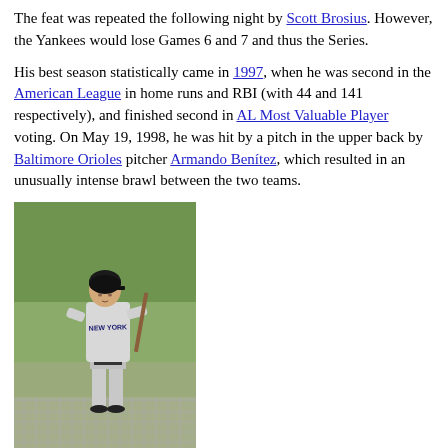The feat was repeated the following night by Scott Brosius. However, the Yankees would lose Games 6 and 7 and thus the Series.
His best season statistically came in 1997, when he was second in the American League in home runs and RBI (with 44 and 141 respectively), and finished second in AL Most Valuable Player voting. On May 19, 1998, he was hit by a pitch in the upper back by Baltimore Orioles pitcher Armando Benítez, which resulted in an unusually intense brawl between the two teams.
[Figure (photo): A baseball player in a New York Yankees uniform standing on the field holding a bat, with a chain-link fence in the foreground.]